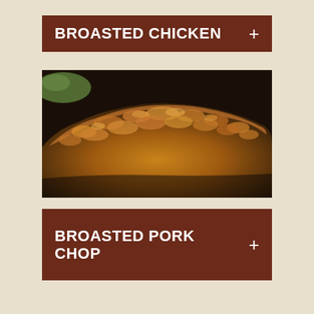BROASTED CHICKEN +
[Figure (photo): Close-up photo of breaded broasted pork chop or chicken with golden-brown crispy coating on a dark plate, with a small portion of green vegetable visible in the upper left corner.]
BROASTED PORK CHOP +